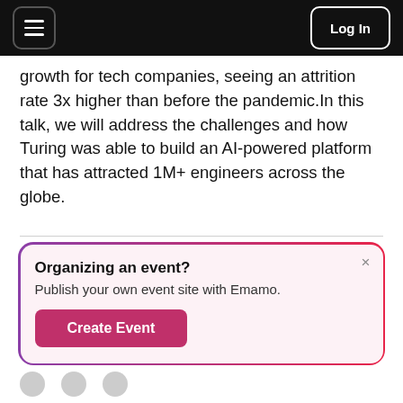Log In
growth for tech companies, seeing an attrition rate 3x higher than before the pandemic. In this talk, we will address the challenges and how Turing was able to build an AI-powered platform that has attracted 1M+ engineers across the globe.
Organizing an event? Publish your own event site with Emamo. Create Event